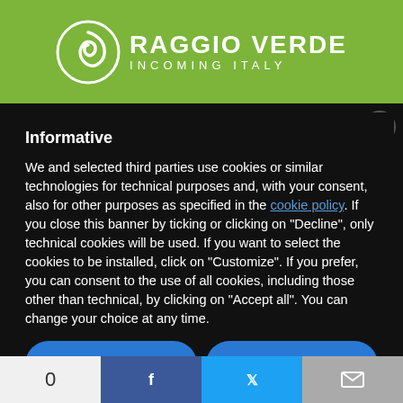[Figure (logo): Raggio Verde Incoming Italy logo with spiral icon on green background]
Informative
We and selected third parties use cookies or similar technologies for technical purposes and, with your consent, also for other purposes as specified in the cookie policy. If you close this banner by ticking or clicking on "Decline", only technical cookies will be used. If you want to select the cookies to be installed, click on "Customize". If you prefer, you can consent to the use of all cookies, including those other than technical, by clicking on "Accept all". You can change your choice at any time.
Reject
Accept All
Customize